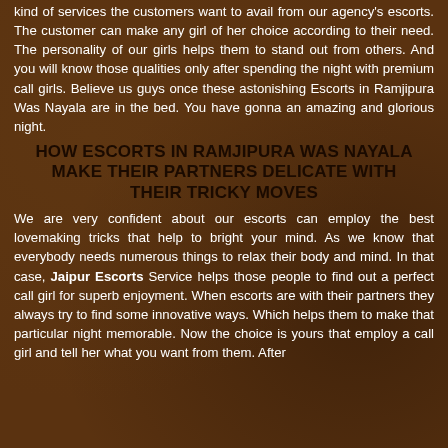kind of services the customers want to avail from our agency's escorts. The customer can make any girl of her choice according to their need. The personality of our girls helps them to stand out from others. And you will know those qualities only after spending the night with premium call girls. Believe us guys once these astonishing Escorts in Ramjipura Was Nayala are in the bed. You have gonna an amazing and glorious night.
HOW ESCORTS IN RAMJIPURA WAS NAYALA MAKE THEIR PARTNERS DELICATE WITH THEIR TRICKY MOVES
We are very confident about our escorts can employ the best lovemaking tricks that help to bright your mind. As we know that everybody needs numerous things to relax their body and mind. In that case, Jaipur Escorts Service helps those people to find out a perfect call girl for superb enjoyment. When escorts are with their partners they always try to find some innovative ways. Which helps them to make that particular night memorable. Now the choice is yours that employ a call girl and tell her what you want from them. After